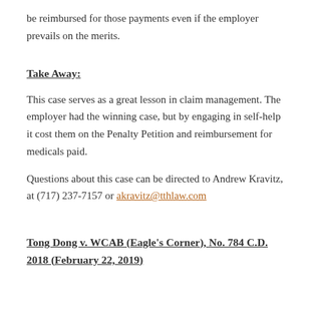be reimbursed for those payments even if the employer prevails on the merits.
Take Away:
This case serves as a great lesson in claim management. The employer had the winning case, but by engaging in self-help it cost them on the Penalty Petition and reimbursement for medicals paid.
Questions about this case can be directed to Andrew Kravitz, at (717) 237-7157 or akravitz@tthlaw.com
Tong Dong v. WCAB (Eagle's Corner), No. 784 C.D. 2018 (February 22, 2019)